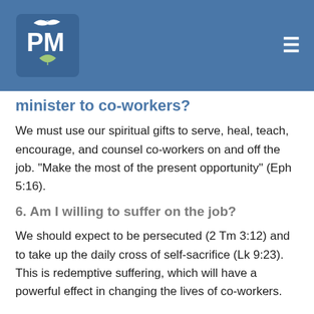[Figure (logo): PM logo with bird/leaf icon on blue header bar, with hamburger menu icon on the right]
minister to co-workers?
We must use our spiritual gifts to serve, heal, teach, encourage, and counsel co-workers on and off the job. "Make the most of the present opportunity" (Eph 5:16).
6. Am I willing to suffer on the job?
We should expect to be persecuted (2 Tm 3:12) and to take up the daily cross of self-sacrifice (Lk 9:23). This is redemptive suffering, which will have a powerful effect in changing the lives of co-workers.